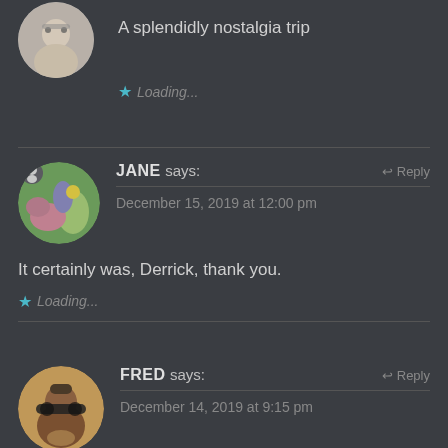[Figure (photo): Partial avatar photo of a person with glasses at top left]
A splendidly nostalgia trip
★ Loading...
[Figure (photo): Avatar photo of Jane showing a garden with flowers and plants]
JANE says:
↩ Reply
December 15, 2019 at 12:00 pm
It certainly was, Derrick, thank you.
★ Loading...
[Figure (photo): Avatar photo of Fred, a man wearing sunglasses outdoors]
FRED says:
↩ Reply
December 14, 2019 at 9:15 pm